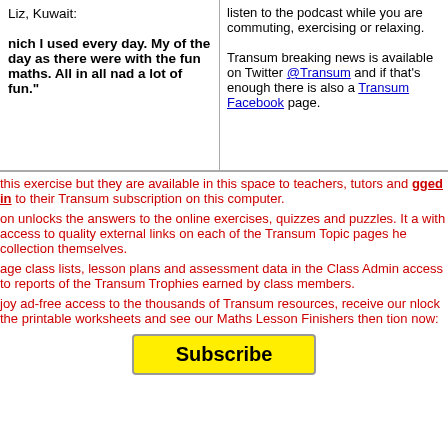Liz, Kuwait:
nich I used every day. My of the day as there were with the fun maths. All in all nad a lot of fun."
listen to the podcast while you are commuting, exercising or relaxing. Transum breaking news is available on Twitter @Transum and if that's enough there is also a Transum Facebook page.
this exercise but they are available in this space to teachers, tutors and logged in to their Transum subscription on this computer.
on unlocks the answers to the online exercises, quizzes and puzzles. It a with access to quality external links on each of the Transum Topic pages he collection themselves.
age class lists, lesson plans and assessment data in the Class Admin access to reports of the Transum Trophies earned by class members.
joy ad-free access to the thousands of Transum resources, receive our nlock the printable worksheets and see our Maths Lesson Finishers then tion now:
Subscribe